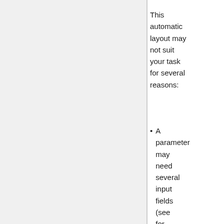This automatic layout may not suit your task for several reasons:
A parameter may need several input fields (see for instance the angle parameter of